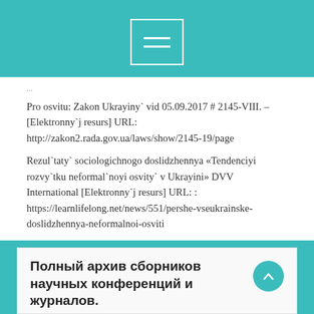Pro osvitu: Zakon Ukrayiny` vid 05.09.2017 # 2145-VIII. – [Elektronny`j resurs] URL: http://zakon2.rada.gov.ua/laws/show/2145-19/page
Rezul`taty` sociologichnogo doslidzhennya «Tendenciyi rozvy`tku neformal`noyi osvity` v Ukrayini» DVV International [Elektronny`j resurs] URL: : https://learnlifelong.net/news/551/pershe-vseukrainske-doslidzhennya-neformalnoi-osviti
Fy`losofsky`j энcy`klopedy`chesky`j slovar`. / Gl. redakcy`ya L. F. Y`l`y`chev, P. N. Fedoseev, S. M. Kovalev, V. G. Panov. Moskva, 1983. – 840 s.
Полный архив сборников научных конференций и журналов.